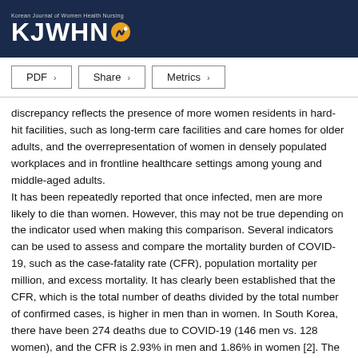KJWHN - Korean Journal of Women Health Nursing
PDF  Share  Metrics
discrepancy reflects the presence of more women residents in hard-hit facilities, such as long-term care facilities and care homes for older adults, and the overrepresentation of women in densely populated workplaces and in frontline healthcare settings among young and middle-aged adults. It has been repeatedly reported that once infected, men are more likely to die than women. However, this may not be true depending on the indicator used when making this comparison. Several indicators can be used to assess and compare the mortality burden of COVID-19, such as the case-fatality rate (CFR), population mortality per million, and excess mortality. It has clearly been established that the CFR, which is the total number of deaths divided by the total number of confirmed cases, is higher in men than in women. In South Korea, there have been 274 deaths due to COVID-19 (146 men vs. 128 women), and the CFR is 2.93% in men and 1.86% in women [2]. The overall rate ratio for the sex-specific CFR is 1.58. The mortality rate per million, which measures the...